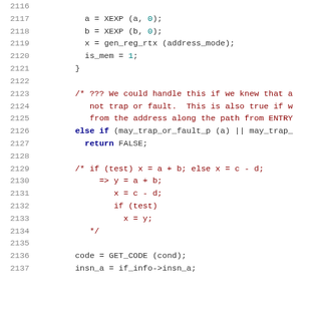[Figure (screenshot): Source code listing lines 2116-2137, C/C++ code with syntax highlighting showing variable assignments, a comment block about trap/fault handling, and a commented-out if-else transformation pattern.]